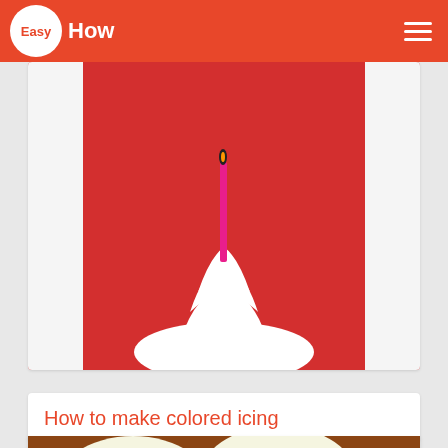Easy How
[Figure (photo): A cupcake or dessert with white whipped cream and a pink birthday candle against a red background]
How to make colored icing
[Figure (photo): Pink frosted donuts with white sprinkles and white frosted donuts with dark chocolate sprinkles]